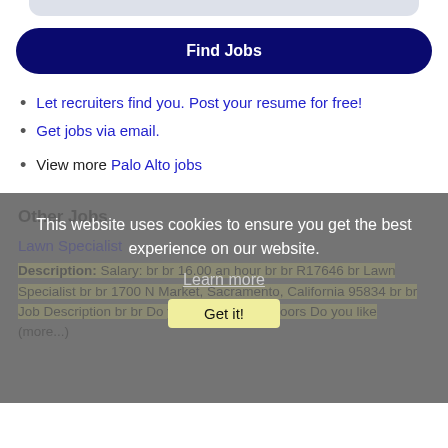[Figure (other): Top rounded gray bar (partial UI element)]
Find Jobs
Let recruiters find you. Post your resume for free!
Get jobs via email.
View more Palo Alto jobs
Other Jobs
This website uses cookies to ensure you get the best experience on our website.
Learn more
Get it!
Lawn Specialist
Description: Salary: br br 16.00 an hour br br R17646 br Lawn Specialist br br 1700 N Market, Sacramento, California 95834 br br Job Description br br Do you like being outdoors Do you like (more...)